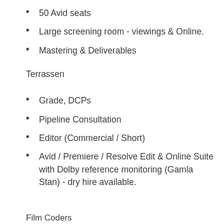50 Avid seats
Large screening room - viewings & Online.
Mastering & Deliverables
Terrassen
Grade, DCPs
Pipeline Consultation
Editor (Commercial / Short)
Avid / Premiere / Resolve Edit & Online Suite with Dolby reference monitoring (Gamla Stan) - dry hire available.
Film Coders